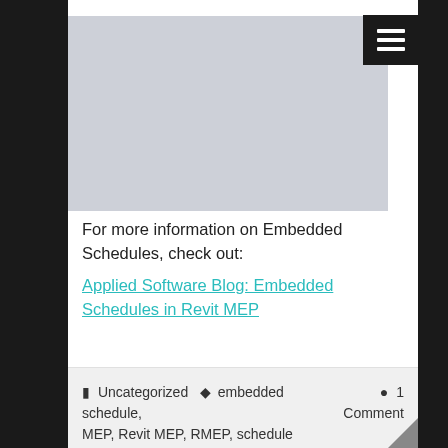[Figure (screenshot): Gray placeholder image area with a black hamburger menu button in the top right corner]
For more information on Embedded Schedules, check out:
Applied Software Blog: Embedded Schedules in Revit MEP
Uncategorized  embedded schedule, MEP, Revit MEP, RMEP, schedule  1 Comment